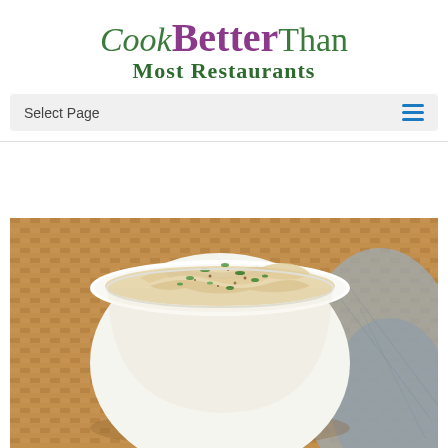CookBetterThan Most Restaurants
Select Page
[Figure (photo): A white ceramic bowl filled with hummus topped with chopped green herbs and a sprinkle of spice, placed in a wicker basket with a blue-grey cloth napkin beside it.]